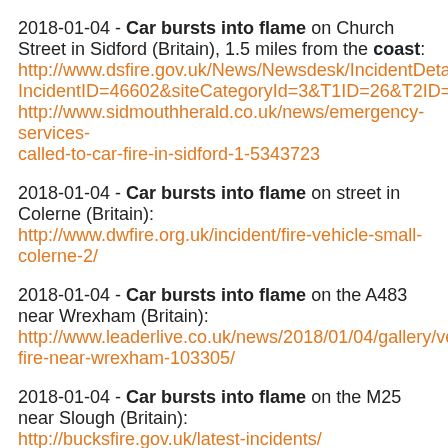2018-01-04 - Car bursts into flame on Church Street in Sidford (Britain), 1.5 miles from the coast: http://www.dsfire.gov.uk/News/Newsdesk/IncidentDetail.cfm?IncidentID=46602&siteCategoryId=3&T1ID=26&T2ID=41 http://www.sidmouthherald.co.uk/news/emergency-services-called-to-car-fire-in-sidford-1-5343723
2018-01-04 - Car bursts into flame on street in Colerne (Britain): http://www.dwfire.org.uk/incident/fire-vehicle-small-colerne-2/
2018-01-04 - Car bursts into flame on the A483 near Wrexham (Britain): http://www.leaderlive.co.uk/news/2018/01/04/gallery/vehicle-fire-near-wrexham-103305/
2018-01-04 - Car bursts into flame on the M25 near Slough (Britain): http://bucksfire.gov.uk/latest-incidents/
Quote: "Thursday 4 January, 2.40pm Car fire, M25 clockwise between junctions 15 (M4 interchange) and 16